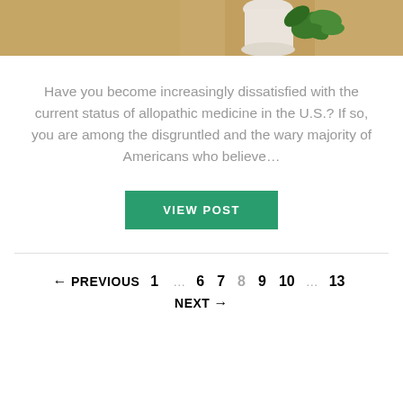[Figure (photo): Cropped photo showing a wooden surface with a white mortar and green herb leaves]
Have you become increasingly dissatisfied with the current status of allopathic medicine in the U.S.? If so, you are among the disgruntled and the wary majority of Americans who believe...
VIEW POST
← PREVIOUS  1  ...  6  7  8  9  10  ...  13  NEXT →